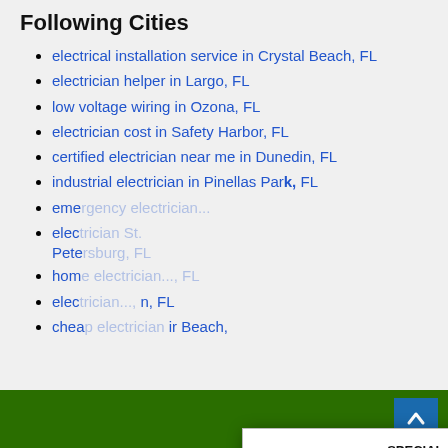Following Cities
electrical installation service in Crystal Beach, FL
electrician helper in Largo, FL
low voltage wiring in Ozona, FL
electrician cost in Safety Harbor, FL
certified electrician near me in Dunedin, FL
industrial electrician in Pinellas Park, FL
eme[rgency electrician...], FL
elec[trician...] Pete[rsburg, FL]
hom[e electrician...], FL
elec[trician...], FL
chea[p electrician...] ir Beach, FL
[Figure (infographic): Popup advertisement for website for sale with a real estate sign graphic showing WEBSITE FOR SALE, Turn Key, 727-639-7078, with SPECIAL OFFER text and red band at bottom reading about buying a website for business]